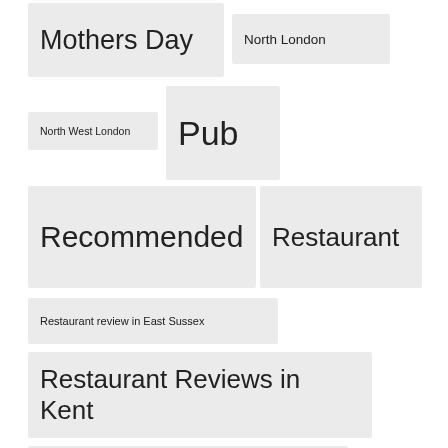Mothers Day
North London
North West London
Pub
Recommended
Restaurant
Restaurant review in East Sussex
Restaurant Reviews in Kent
Restaurant Reviews in London
Review
Roast Suitable for Vegetarians
Romantic
Silver Service